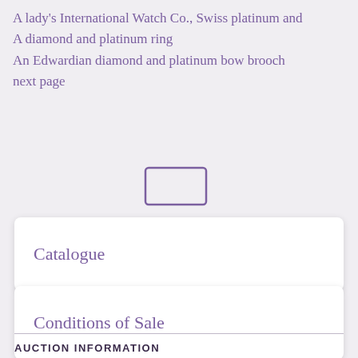A lady's International Watch Co., Swiss platinum and
A diamond and platinum ring
An Edwardian diamond and platinum bow brooch
next page
[Figure (other): A small purple-outlined rectangle (checkbox/image placeholder)]
Catalogue
Conditions of Sale
AUCTION INFORMATION